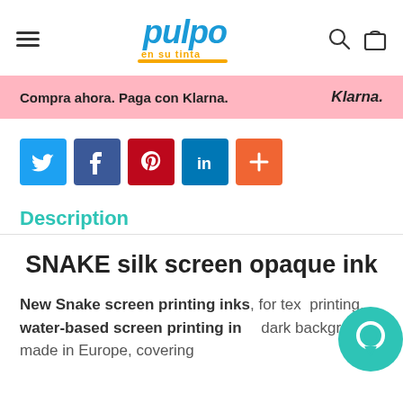pulpo en su tinta (logo) — navigation header with hamburger menu, search icon, bag icon
Compra ahora. Paga con Klarna. Klarna.
[Figure (other): Social share buttons: Twitter (blue), Facebook (dark blue), Pinterest (red), LinkedIn (blue), Plus/More (orange)]
Description
SNAKE silk screen opaque ink
New Snake screen printing inks, for text printing, water-based screen printing inks dark backgrounds made in Europe, covering